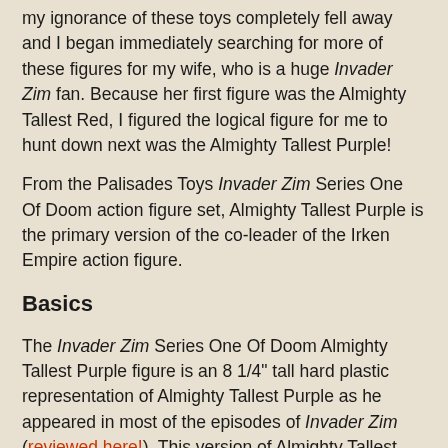my ignorance of these toys completely fell away and I began immediately searching for more of these figures for my wife, who is a huge Invader Zim fan. Because her first figure was the Almighty Tallest Red, I figured the logical figure for me to hunt down next was the Almighty Tallest Purple!
From the Palisades Toys Invader Zim Series One Of Doom action figure set, Almighty Tallest Purple is the primary version of the co-leader of the Irken Empire action figure.
Basics
The Invader Zim Series One Of Doom Almighty Tallest Purple figure is an 8 1/4" tall hard plastic representation of Almighty Tallest Purple as he appeared in most of the episodes of Invader Zim (reviewed here!). This version of Almighty Tallest Purple is made of hard plastic, save for the antennae on the back of his head, which are made of softer plastic.
The Invader Zim Series One Of Doom Almighty Tallest Purple is notorious and I also know that the